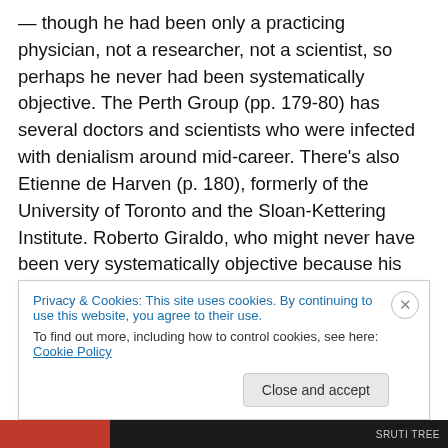— though he had been only a practicing physician, not a researcher, not a scientist, so perhaps he never had been systematically objective. The Perth Group (pp. 179-80) has several doctors and scientists who were infected with denialism around mid-career. There's also Etienne de Harven (p. 180), formerly of the University of Toronto and the Sloan-Kettering Institute. Roberto Giraldo, who might never have been very systematically objective because his medical degree was only from South America and he had been merely a medical technologist in New York (p. 181). Mohammed Al-Bayati (p. 181), PhD from the University of
Privacy & Cookies: This site uses cookies. By continuing to use this website, you agree to their use.
To find out more, including how to control cookies, see here: Cookie Policy
Close and accept